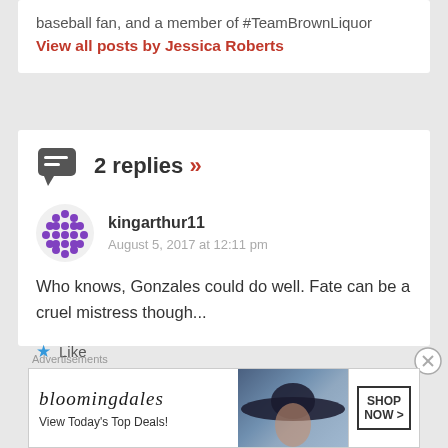baseball fan, and a member of #TeamBrownLiquor
View all posts by Jessica Roberts
2 replies »
kingarthur11
August 5, 2017 at 12:11 pm
Who knows, Gonzales could do well. Fate can be a cruel mistress though...
Like
Advertisements
[Figure (screenshot): Bloomingdale's advertisement banner with 'View Today's Top Deals!' and 'SHOP NOW >' button, featuring a woman in a wide-brim hat]